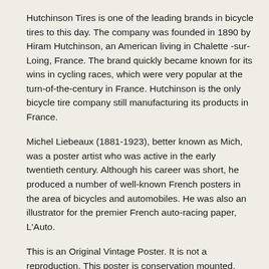Hutchinson Tires is one of the leading brands in bicycle tires to this day. The company was founded in 1890 by Hiram Hutchinson, an American living in Chalette -sur-Loing, France. The brand quickly became known for its wins in cycling races, which were very popular at the turn-of-the-century in France. Hutchinson is the only bicycle tire company still manufacturing its products in France.
Michel Liebeaux (1881-1923), better known as Mich, was a poster artist who was active in the early twentieth century. Although his career was short, he produced a number of well-known French posters in the area of bicycles and automobiles. He was also an illustrator for the premier French auto-racing paper, L'Auto.
This is an Original Vintage Poster. It is not a reproduction. This poster is conservation mounted, linen backed and in excellent condition. We guarantee the authenticity of all of our posters.